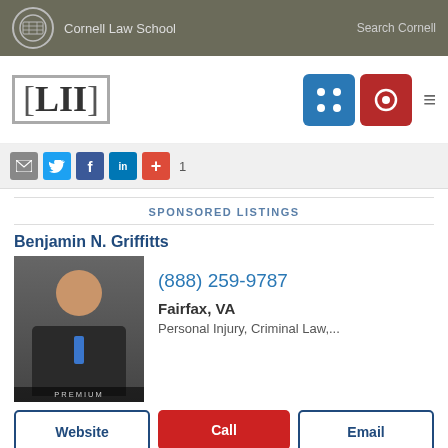Cornell Law School | Search Cornell
[Figure (logo): LII Legal Information Institute logo with navigation icons]
[Figure (screenshot): Social share bar with email, Twitter, Facebook, LinkedIn, and plus buttons, count: 1]
SPONSORED LISTINGS
Benjamin N. Griffitts
[Figure (photo): Professional headshot of Benjamin N. Griffitts, attorney, with PREMIUM badge]
(888) 259-9787
Fairfax, VA
Personal Injury, Criminal Law,...
Website | Call | Email
Adriana F. Estevez